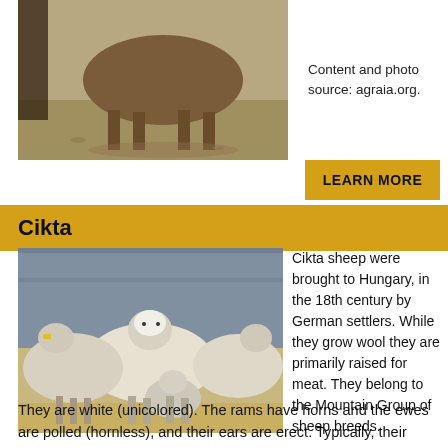[Figure (photo): Photo of a sheep or animal standing outdoors on dry ground, partial view, dark figure in background]
Content and photo source: agraia.org.
LEARN MORE
Cikta
[Figure (photo): Group of Cikta sheep standing together in a pen, white woolly sheep with a lamb in the foreground]
Cikta sheep were brought to Hungary, in the 18th century by German settlers. While they grow wool they are primarily raised for meat. They belong to the Mountain Group of sheep breeds.
They are white (unicolored). The rams have horns and the ewes are polled (hornless), and their ears are erect. Typically, their horns are small or knob-like